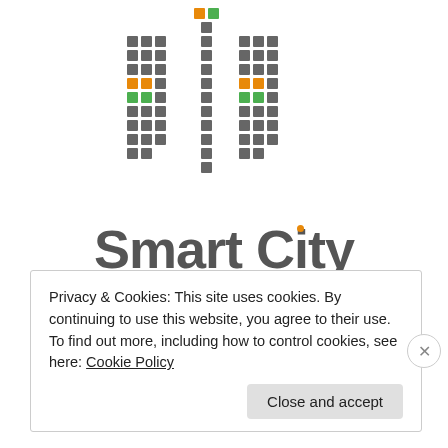[Figure (logo): Smart City Mission Transform-Nation logo with pixel/grid style letter marks in gray, orange, and green, with the text 'Smart City' in large gray bold letters and 'MISSION TRANSFORM-NATION' below in spaced caps]
Privacy & Cookies: This site uses cookies. By continuing to use this website, you agree to their use.
To find out more, including how to control cookies, see here: Cookie Policy
Close and accept